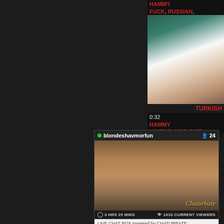[Figure (screenshot): Dark background main content area of a webcam streaming website]
HAMMY
FUCK, RUSSIAN,
[Figure (screenshot): Thumbnail image of webcam stream]
TURKISH
0:32
HAMMY
AMATEUR, ARAB, RUST
[Figure (screenshot): Chaturbate popup overlay showing blondeshavmorfun stream with 24 viewers, 3 HRS 25 MINS, 1016 CURRENT VIEWERS]
LIVE CHAT BOX powered by CHATURBATE: